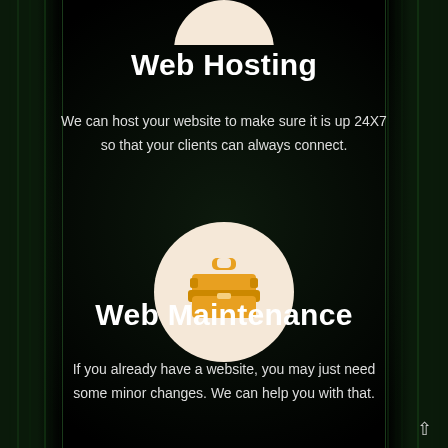[Figure (illustration): Partial circle icon at top of page (web hosting icon, cut off at top edge)]
Web Hosting
We can host your website to make sure it is up 24X7 so that your clients can always connect.
[Figure (illustration): Circular icon with orange toolbox/briefcase symbol on cream/beige background for Web Maintenance section]
Web Maintenance
If you already have a website, you may just need some minor changes. We can help you with that.